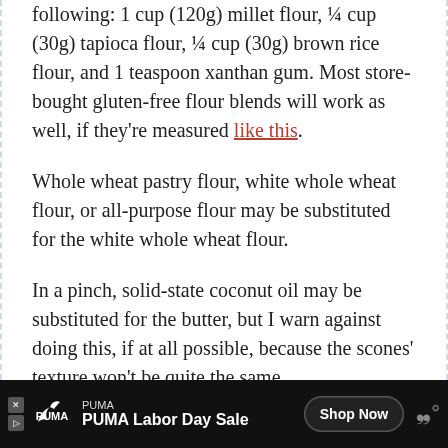following: 1 cup (120g) millet flour, ¼ cup (30g) tapioca flour, ¼ cup (30g) brown rice flour, and 1 teaspoon xanthan gum. Most store-bought gluten-free flour blends will work as well, if they're measured like this.
Whole wheat pastry flour, white whole wheat flour, or all-purpose flour may be substituted for the white whole wheat flour.
In a pinch, solid-state coconut oil may be substituted for the butter, but I warn against doing this, if at all possible, because the scones' texture won't be quite the same.
Honey or agave may be substituted for the maple syrup.
[Figure (other): PUMA advertisement banner at bottom of page. Dark background with PUMA logo, text 'PUMA Labor Day Sale', and 'Shop Now' button.]